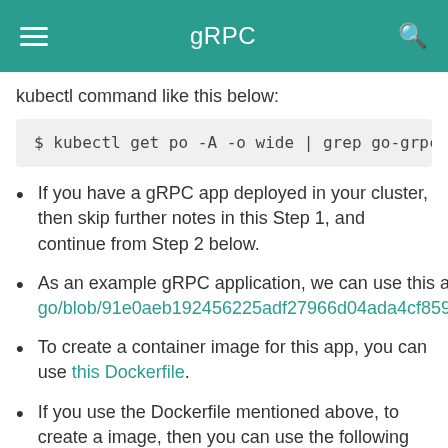gRPC
kubectl command like this below:
$ kubectl get po -A -o wide | grep go-grpc-gre
If you have a gRPC app deployed in your cluster, then skip further notes in this Step 1, and continue from Step 2 below.
As an example gRPC application, we can use this app https://github.com/grpc/grpc-go/blob/91e0aeb192456225adf27966d04ada4cf8599915/examples/features/reflection/server/main.go.
To create a container image for this app, you can use this Dockerfile.
If you use the Dockerfile mentioned above, to create a image, then you can use the following example